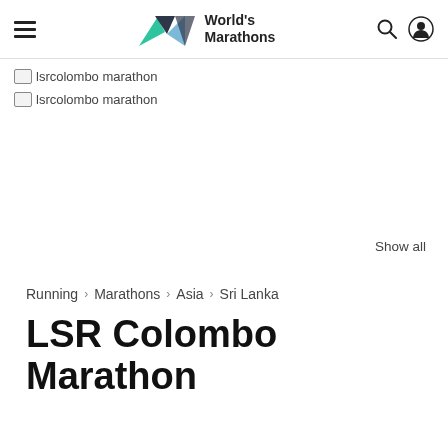World's Marathons
[Figure (photo): Broken image placeholder with alt text: lsrcolombo marathon]
[Figure (photo): Broken image placeholder with alt text: lsrcolombo marathon]
Show all
Running > Marathons > Asia > Sri Lanka
LSR Colombo Marathon